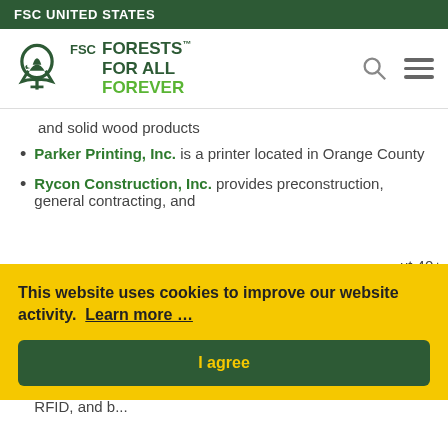FSC UNITED STATES
[Figure (logo): FSC Forests For All Forever logo with tree icon, FSC text, and green tagline. Search and hamburger menu icons on the right.]
and solid wood products
Parker Printing, Inc. is a printer located in Orange County
Rycon Construction, Inc. provides preconstruction, general contracting, and construction management services th... ut 40+
On
ed for
old
This website uses cookies to improve our website activity. Learn more …
I agree
Pineline Technologies, Inc is a supplier of retail ticketing, RFID, and b...